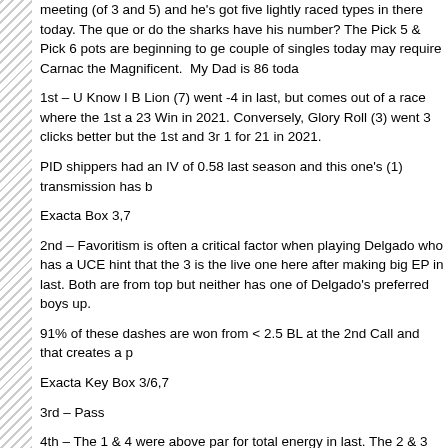meeting (of 3 and 5) and he's got five lightly raced types in there today. The que or do the sharks have his number? The Pick 5 & Pick 6 pots are beginning to ge couple of singles today may require Carnac the Magnificent.  My Dad is 86 toda
1st – U Know I B Lion (7) went -4 in last, but comes out of a race where the 1st a 23 Win in 2021. Conversely, Glory Roll (3) went 3 clicks better but the 1st and 3r 1 for 21 in 2021.
PID shippers had an IV of 0.58 last season and this one's (1) transmission has b
Exacta Box 3,7
2nd – Favoritism is often a critical factor when playing Delgado who has a UCE hint that the 3 is the live one here after making big EP in last. Both are from top  but neither has one of Delgado's preferred boys up.
91% of these dashes are won from < 2.5 BL at the 2nd Call and that creates a p
Exacta Key Box 3/6,7
3rd – Pass
4th – The 1 & 4 were above par for total energy in last. The 2 & 3 have trainers  2YOs. Wilson has no record with UCEs and only 3 of 14 claimed from Hamm he